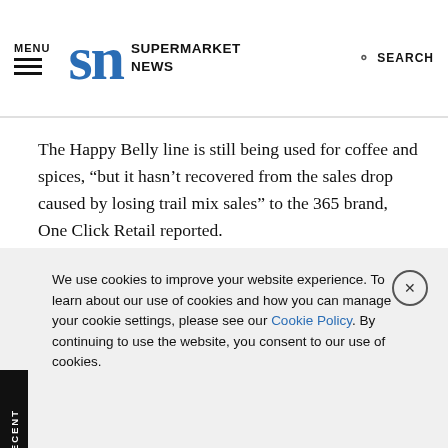MENU | SN SUPERMARKET NEWS | SEARCH
The Happy Belly line is still being used for coffee and spices, “but it hasn’t recovered from the sales drop caused by losing trail mix sales” to the 365 brand, One Click Retail reported.
Meanwhile, sales of Wickedly Prime — Amazon’s trend-forward line of snacks, condiments, soups and other grocery items — have “flatlined,” the research firm found. That line was introduced in December 2016 for Amazon Prime members
We use cookies to improve your website experience. To learn about our use of cookies and how you can manage your cookie settings, please see our Cookie Policy. By continuing to use the website, you consent to our use of cookies.